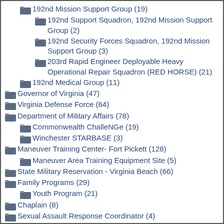192nd Mission Support Group (19)
192nd Support Squadron, 192nd Mission Support Group (2)
192nd Security Forces Squadron, 192nd Mission Support Group (3)
203rd Rapid Engineer Deployable Heavy Operational Repair Squadron (RED HORSE) (21)
192nd Medical Group (11)
Governor of Virginia (47)
Virginia Defense Force (64)
Department of Military Affairs (78)
Commonwealth ChalleNGe (19)
Winchester STARBASE (3)
Maneuver Training Center- Fort Pickett (128)
Maneuver Area Training Equipment Site (5)
State Military Reservation - Virginia Beach (66)
Family Programs (29)
Youth Program (21)
Chaplain (8)
Sexual Assault Response Coordinator (4)
Resilience, Risk Reduction & Suicide Prevention (2)
34th CERFP (16)
Funeral Honors Program (7)